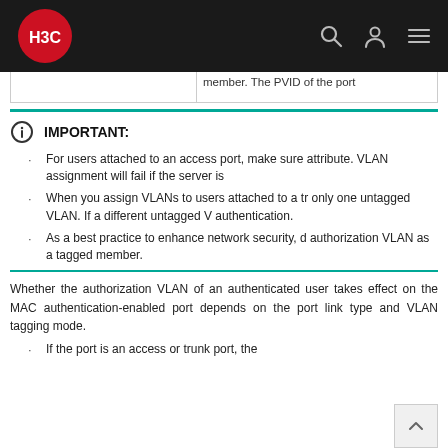H3C navigation header with logo and icons
|  | member. The PVID of the port |
IMPORTANT:
For users attached to an access port, make sure attribute. VLAN assignment will fail if the server is
When you assign VLANs to users attached to a tr only one untagged VLAN. If a different untagged V authentication.
As a best practice to enhance network security, d authorization VLAN as a tagged member.
Whether the authorization VLAN of an authenticated user takes effect on the MAC authentication-enabled port depends on the port link type and VLAN tagging mode.
If the port is an access or trunk port, the